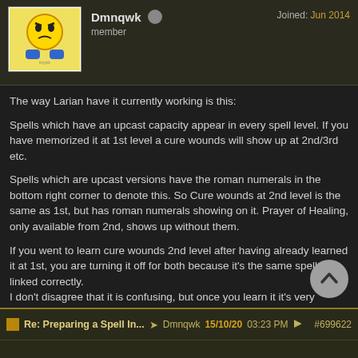Dmnqwk | member | Joined: Jun 2014
The way Larian have it currently working is this:
Spells which have an upcast capacity appear in every spell level. If you have memorized it at 1st level a cure wounds will show up at 2nd/3rd etc.
Spells which are upcast versions have the roman numerals in the bottom right corner to denote this. So Cure wounds at 2nd level is the same as 1st, but has roman numerals showing on it. Prayer of Healing, only available from 2nd, shows up without them.
If you went to learn cure wounds 2nd level after having already learned it at 1st, you are turning it off for both because it's the same spell and linked correctly.
I don't disagree that it is confusing, but once you learn it it's very straightforward - just look for the roman numerals (the I II III IV etc) on the icon to realise that is a 'free' button, since the spell still only counts as being 1 memorization for the 2 buttons).
Re: Preparing a Spell In... → Dmnqwk 15/10/20 03:23 PM #699622